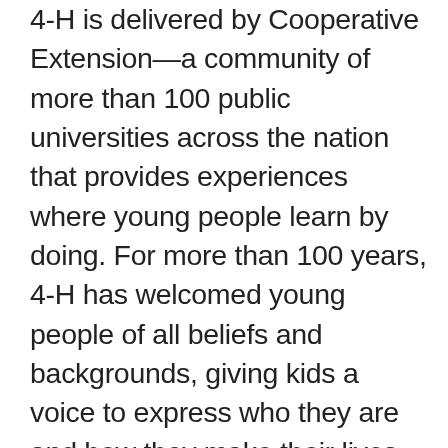4-H is delivered by Cooperative Extension—a community of more than 100 public universities across the nation that provides experiences where young people learn by doing. For more than 100 years, 4-H has welcomed young people of all beliefs and backgrounds, giving kids a voice to express who they are and how they make their lives and communities better. Through life-changing 4-H programs, nearly six million kids have taken on critical societal issues, such as addressing community health inequities, engaging in civil discourse and advocating for equity and inclusion for all.